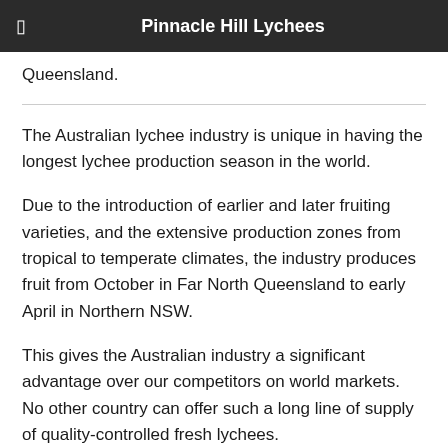Pinnacle Hill Lychees
Queensland.
The Australian lychee industry is unique in having the longest lychee production season in the world.
Due to the introduction of earlier and later fruiting varieties, and the extensive production zones from tropical to temperate climates, the industry produces fruit from October in Far North Queensland to early April in Northern NSW.
This gives the Australian industry a significant advantage over our competitors on world markets. No other country can offer such a long line of supply of quality-controlled fresh lychees.